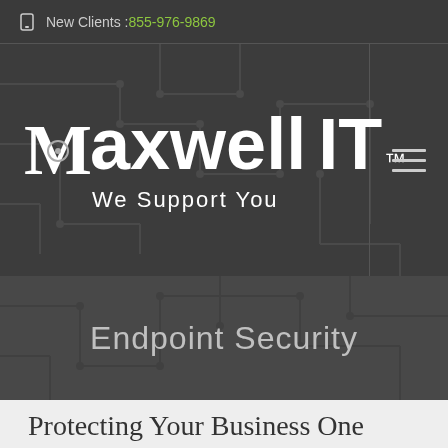New Clients : 855-976-9869
[Figure (logo): Maxwell IT™ We Support You logo on dark circuit board background with hamburger menu icon]
Endpoint Security
Protecting Your Business One